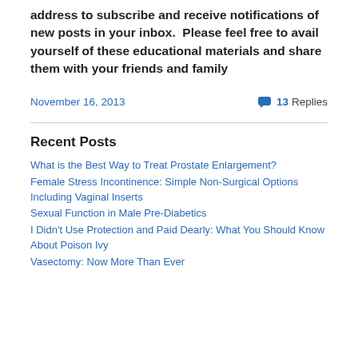address to subscribe and receive notifications of new posts in your inbox.  Please feel free to avail yourself of these educational materials and share them with your friends and family
November 16, 2013    💬 13 Replies
Recent Posts
What is the Best Way to Treat Prostate Enlargement?
Female Stress Incontinence: Simple Non-Surgical Options Including Vaginal Inserts
Sexual Function in Male Pre-Diabetics
I Didn't Use Protection and Paid Dearly: What You Should Know About Poison Ivy
Vasectomy: Now More Than Ever